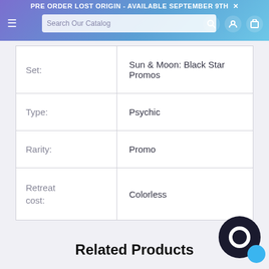PRE ORDER LOST ORIGIN - AVAILABLE SEPTEMBER 9TH
| Set: | Sun & Moon: Black Star Promos |
| Type: | Psychic |
| Rarity: | Promo |
| Retreat cost: | Colorless |
Related Products